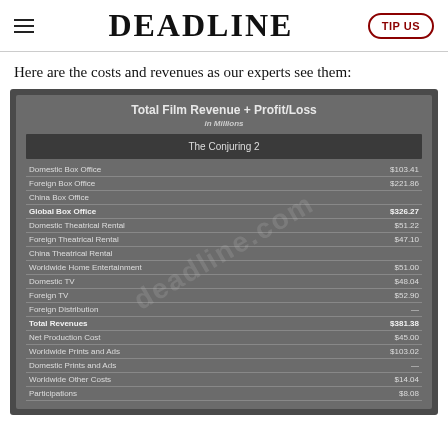DEADLINE | TIP US
Here are the costs and revenues as our experts see them:
|  | The Conjuring 2 |
| --- | --- |
| Domestic Box Office | $103.41 |
| Foreign Box Office | $221.86 |
| China Box Office |  |
| Global Box Office | $326.27 |
| Domestic Theatrical Rental | $51.22 |
| Foreign Theatrical Rental | $47.10 |
| China Theatrical Rental |  |
| Worldwide Home Entertainment | $51.00 |
| Domestic TV | $48.04 |
| Foreign TV | $52.90 |
| Foreign Distribution | — |
| Total Revenues | $381.38 |
| Net Production Cost | $45.00 |
| Worldwide Prints and Ads | $103.02 |
| Domestic Prints and Ads | — |
| Worldwide Other Costs | $14.04 |
| Participations | $8.08 |